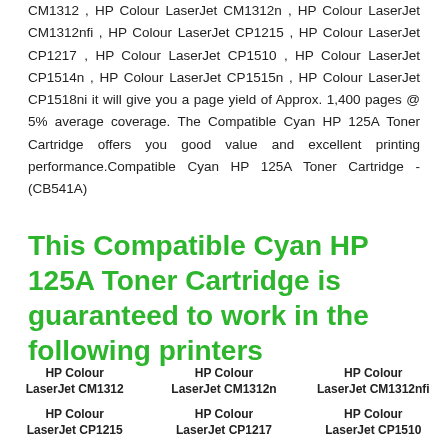CM1312 , HP Colour LaserJet CM1312n , HP Colour LaserJet CM1312nfi , HP Colour LaserJet CP1215 , HP Colour LaserJet CP1217 , HP Colour LaserJet CP1510 , HP Colour LaserJet CP1514n , HP Colour LaserJet CP1515n , HP Colour LaserJet CP1518ni it will give you a page yield of Approx. 1,400 pages @ 5% average coverage. The Compatible Cyan HP 125A Toner Cartridge offers you good value and excellent printing performance.Compatible Cyan HP 125A Toner Cartridge - (CB541A)
This Compatible Cyan HP 125A Toner Cartridge is guaranteed to work in the following printers
HP Colour LaserJet CM1312
HP Colour LaserJet CM1312n
HP Colour LaserJet CM1312nfi
HP Colour LaserJet CP1215
HP Colour LaserJet CP1217
HP Colour LaserJet CP1510